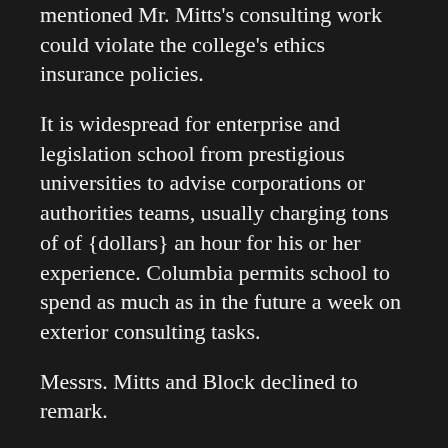mentioned Mr. Mitts's consulting work could violate the college's ethics insurance policies.
It is widespread for enterprise and legislation school from prestigious universities to advise corporations or authorities teams, usually charging tons of of {dollars} an hour for his or her experience. Columbia permits school to spend as much as in the future a week on exterior consulting tasks.
Messrs. Mitts and Block declined to remark.
A Columbia spokesman declined to touch upon the matter. He mentioned the varsity “recognizes the importance of relationships between researchers and external entities, and seeks to encourage such relationships, but also has rigorous standards and policies about conflicts of